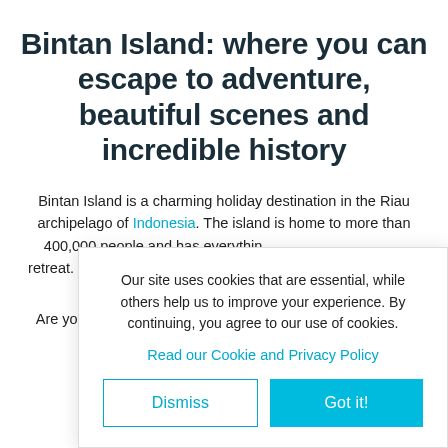Bintan Island: where you can escape to adventure, beautiful scenes and incredible history
Bintan Island is a charming holiday destination in the Riau archipelago of Indonesia. The island is home to more than 400,000 people and has everything you need for a perfect island retreat. Bintan Island has beautiful beaches, scenic landscapes and a fascinating history. Its top attractions include the Pura Agung Potro Loha...
Are you planning a trip to Bintan Island? Because there are many flight options available... to Raja Haji Fisabilillah International Airport (TNJ), which is a 30-minute drive from the Tanjung...
Our site uses cookies that are essential, while others help us to improve your experience. By continuing, you agree to our use of cookies.
Read our Cookie and Privacy Policy
Dismiss | Got it!